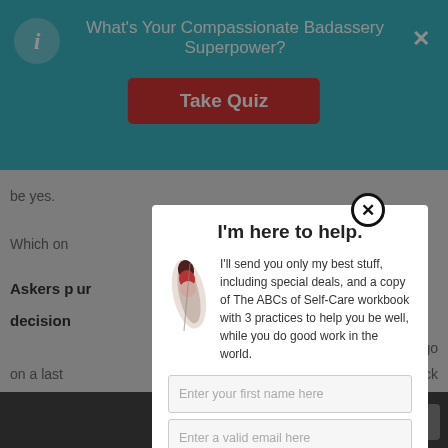What's Your Compassionate Badassery Superpower?
[Figure (screenshot): Teal header banner with 'Take Quiz' red button, info icon on left, X close on right]
be yes.
Which on
Askers p ur decision can go on a last a quick exam? C t?
I'm here to help.
I'll send you only my best stuff, including special deals, and a copy of The ABCs of Self-Care workbook with 3 practices to help you be well, while you do good work in the world.
Enter your first name here
Enter a valid email here
Subscribe
Your information will *never* be shared or sold to a 3rd party.
Askers c athering
r meets a Guesser, things get stressful.